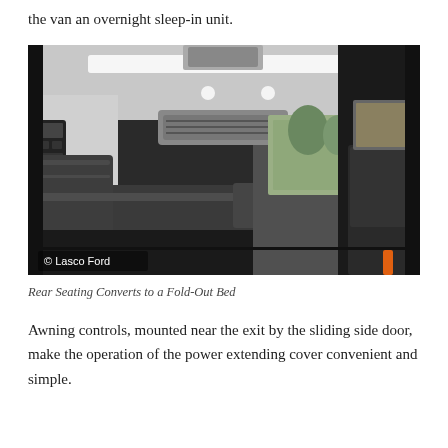the van an overnight sleep-in unit.
[Figure (photo): Interior of a van conversion showing leather rear seating/bed, overhead HVAC unit, ceiling lights, and a view toward the cab. A control device is mounted on the left wall. Copyright Lasco Ford watermark in lower left.]
Rear Seating Converts to a Fold-Out Bed
Awning controls, mounted near the exit by the sliding side door, make the operation of the power extending cover convenient and simple.